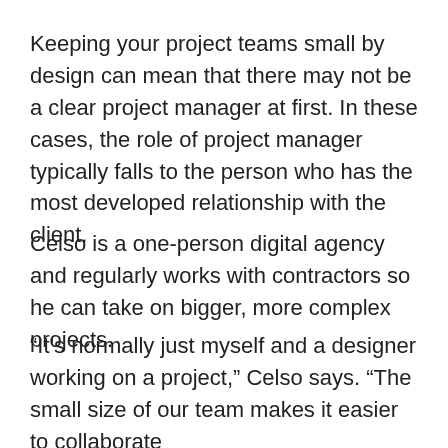Keeping your project teams small by design can mean that there may not be a clear project manager at first. In these cases, the role of project manager typically falls to the person who has the most developed relationship with the client.
Celso is a one-person digital agency and regularly works with contractors so he can take on bigger, more complex projects.
“It’s normally just myself and a designer working on a project,” Celso says. “The small size of our team makes it easier to collaborate